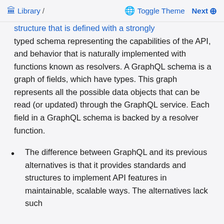🏛 Library / Toggle Theme Next ⊕
structure that is defined with a strongly typed schema representing the capabilities of the API, and behavior that is naturally implemented with functions known as resolvers. A GraphQL schema is a graph of fields, which have types. This graph represents all the possible data objects that can be read (or updated) through the GraphQL service. Each field in a GraphQL schema is backed by a resolver function.
The difference between GraphQL and its previous alternatives is that it provides standards and structures to implement API features in maintainable, scalable ways. The alternatives lack such